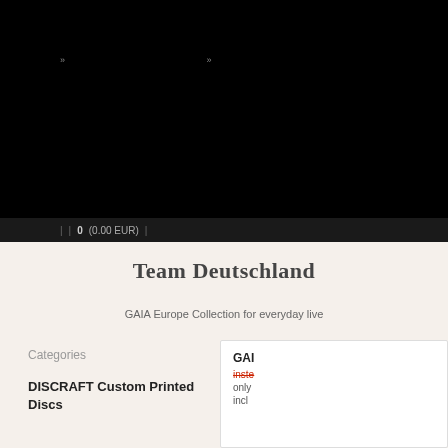[Figure (screenshot): Black navigation header area of a website with double-arrow icons and cart/navigation bar showing 0 (0.00 EUR)]
0  (0.00 EUR) |
Team Deutschland
GAIA Europe Collection for everyday live
Categories
DISCRAFT Custom Printed Discs
GAI... instea... only... incl...